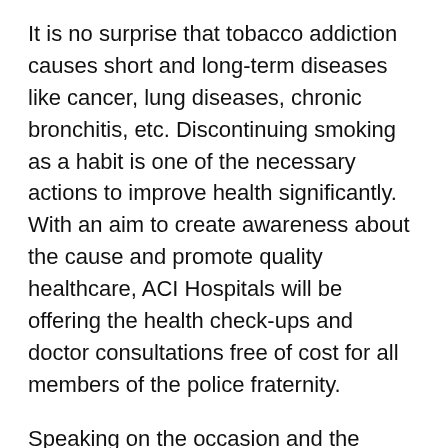It is no surprise that tobacco addiction causes short and long-term diseases like cancer, lung diseases, chronic bronchitis, etc. Discontinuing smoking as a habit is one of the necessary actions to improve health significantly. With an aim to create awareness about the cause and promote quality healthcare, ACI Hospitals will be offering the health check-ups and doctor consultations free of cost for all members of the police fraternity.
Speaking on the occasion and the campaign, Dr. Deepak Parikh, Medical Director, ACI Hospitals, said, "Tobacco addiction can be distressing and often lead to health problems to the others around us. One can start overcoming such an addiction by taking small steps and quitting gradually. The idea is to find out one’s triggers and plan accordingly to overcome them. The addiction is often found with individuals who work in high-stress environments